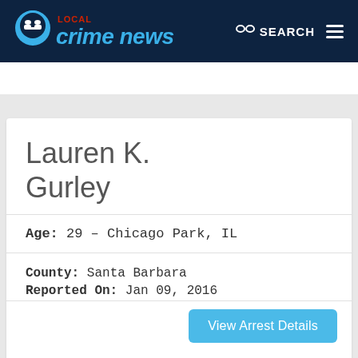LOCAL crime news — SEARCH
Lauren K. Gurley
Age: 29 – Chicago Park, IL
County: Santa Barbara
Reported On: Jan 09, 2016
Arrested For:
23152(A), 23152(B)...
View Arrest Details